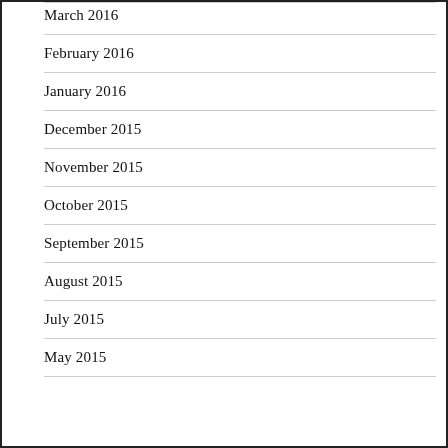March 2016
February 2016
January 2016
December 2015
November 2015
October 2015
September 2015
August 2015
July 2015
May 2015